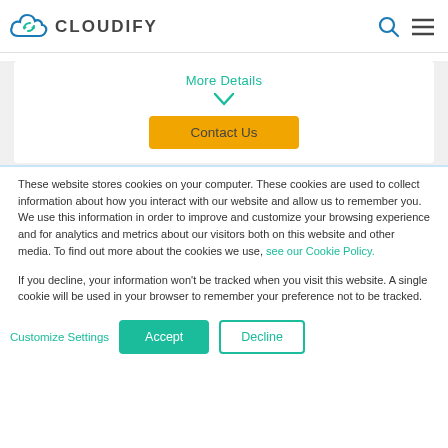CLOUDIFY
More Details
Contact Us
These website stores cookies on your computer. These cookies are used to collect information about how you interact with our website and allow us to remember you. We use this information in order to improve and customize your browsing experience and for analytics and metrics about our visitors both on this website and other media. To find out more about the cookies we use, see our Cookie Policy.
If you decline, your information won't be tracked when you visit this website. A single cookie will be used in your browser to remember your preference not to be tracked.
Customize Settings  Accept  Decline